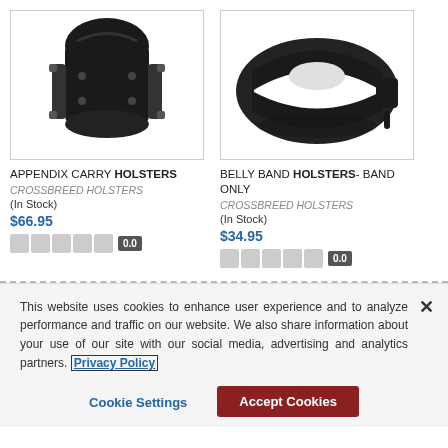[Figure (photo): Black appendix carry holster, molded plastic, viewed from front]
APPENDIX CARRY HOLSTERS
CROSSBREED HOLSTERS
(In Stock)
$66.95
0.0
[Figure (photo): Black belly band holster, elastic band, no gun, viewed from front]
BELLY BAND HOLSTERS- BAND ONLY
CROSSBREED HOLSTERS
(In Stock)
$34.95
0.0
This website uses cookies to enhance user experience and to analyze performance and traffic on our website. We also share information about your use of our site with our social media, advertising and analytics partners. Privacy Policy
Cookie Settings
Accept Cookies